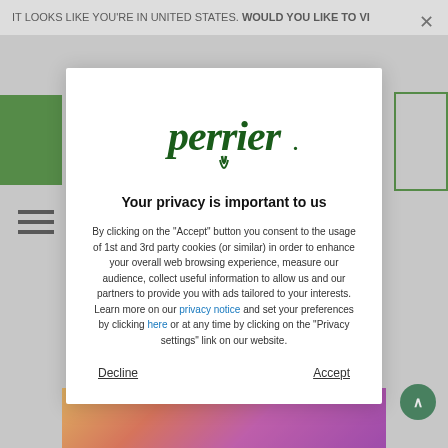IT LOOKS LIKE YOU'RE IN UNITED STATES. WOULD YOU LIKE TO VI...
[Figure (logo): Perrier brand logo in dark green stylized lettering]
Your privacy is important to us
By clicking on the "Accept" button you consent to the usage of 1st and 3rd party cookies (or similar) in order to enhance your overall web browsing experience, measure our audience, collect useful information to allow us and our partners to provide you with ads tailored to your interests. Learn more on our privacy notice and set your preferences by clicking here or at any time by clicking on the "Privacy settings" link on our website.
Decline
Accept